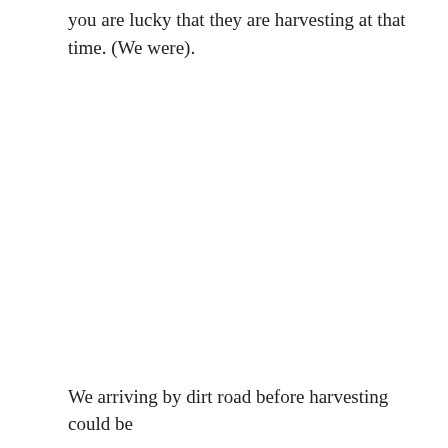you are lucky that they are harvesting at that time. (We were).
We arriving by dirt road before harvesting could be